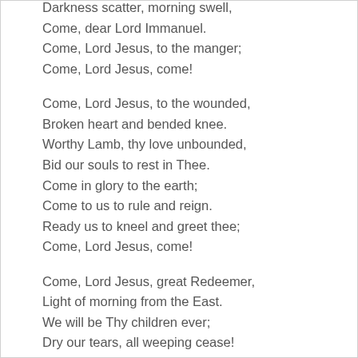Darkness scatter, morning swell,
Come, dear Lord Immanuel.
Come, Lord Jesus, to the manger;
Come, Lord Jesus, come!

Come, Lord Jesus, to the wounded,
Broken heart and bended knee.
Worthy Lamb, thy love unbounded,
Bid our souls to rest in Thee.
Come in glory to the earth;
Come to us to rule and reign.
Ready us to kneel and greet thee;
Come, Lord Jesus, come!

Come, Lord Jesus, great Redeemer,
Light of morning from the East.
We will be Thy children ever;
Dry our tears, all weeping cease!
Come in glory to the earth;